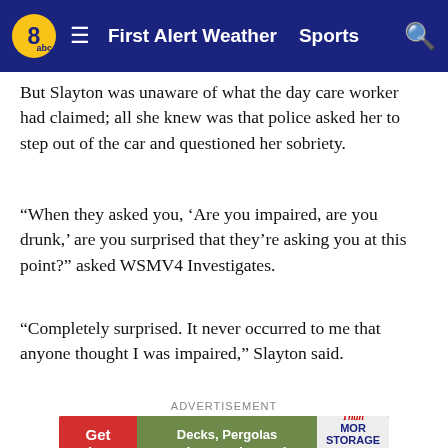8abc | First Alert Weather | Sports
But Slayton was unaware of what the day care worker had claimed; all she knew was that police asked her to step out of the car and questioned her sobriety.
“When they asked you, ‘Are you impaired, are you drunk,’ are you surprised that they’re asking you at this point?” asked WSMV4 Investigates.
“Completely surprised. It never occurred to me that anyone thought I was impaired,” Slayton said.
ADVERTISEMENT
[Figure (other): Advertisement banner: Get Ideas - Decks, Pergolas and so much more! - MOR Storage Sales]
In the footage, Slayton agrees to take a field sobriety test,